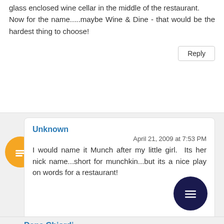glass enclosed wine cellar in the middle of the restaurant.
Now for the name.....maybe Wine & Dine - that would be the hardest thing to choose!
Reply
Unknown
April 21, 2009 at 7:53 PM
I would name it Munch after my little girl. Its her nick name...short for munchkin...but its a nice play on words for a restaurant!
Dana Chiordi